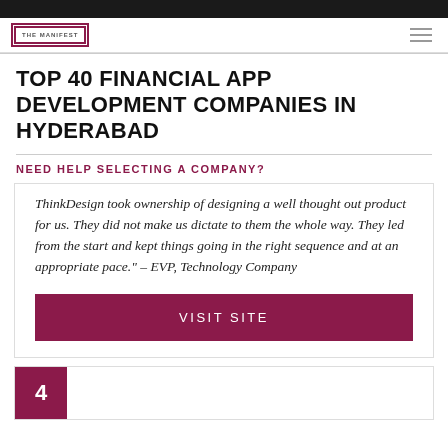[Figure (logo): The Manifest logo - square border with text THE MANIFEST]
TOP 40 FINANCIAL APP DEVELOPMENT COMPANIES IN HYDERABAD
NEED HELP SELECTING A COMPANY?
ThinkDesign took ownership of designing a well thought out product for us. They did not make us dictate to them the whole way. They led from the start and kept things going in the right sequence and at an appropriate pace." – EVP, Technology Company
VISIT SITE
4